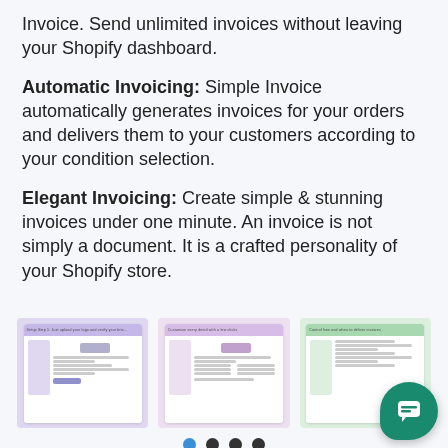Invoice. Send unlimited invoices without leaving your Shopify dashboard.
Automatic Invoicing: Simple Invoice automatically generates invoices for your orders and delivers them to your customers according to your condition selection.
Elegant Invoicing: Create simple & stunning invoices under one minute. An invoice is not simply a document. It is a crafted personality of your Shopify store.
[Figure (screenshot): Three screenshots of the Simple Invoice Shopify app interface showing setup steps: upload logo, customize invoice, and control settings.]